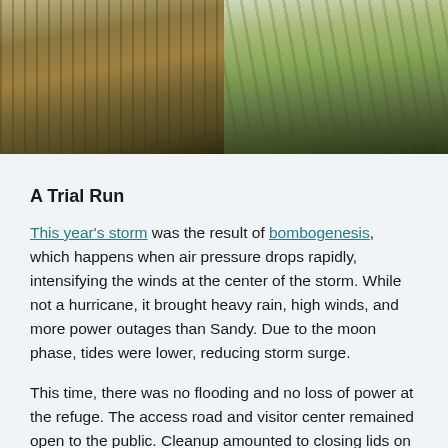[Figure (photo): Two side-by-side photographs: left shows overgrown vegetation and debris near railroad tracks or fencing; right shows tall marsh grasses along a waterway or drainage channel.]
A Trial Run
This year's storm was the result of bombogenesis, which happens when air pressure drops rapidly, intensifying the winds at the center of the storm. While not a hurricane, it brought heavy rain, high winds, and more power outages than Sandy. Due to the moon phase, tides were lower, reducing storm surge.
This time, there was no flooding and no loss of power at the refuge. The access road and visitor center remained open to the public. Cleanup amounted to closing lids on trash bins.
In the northern Maidford Marsh, stormwater drained through